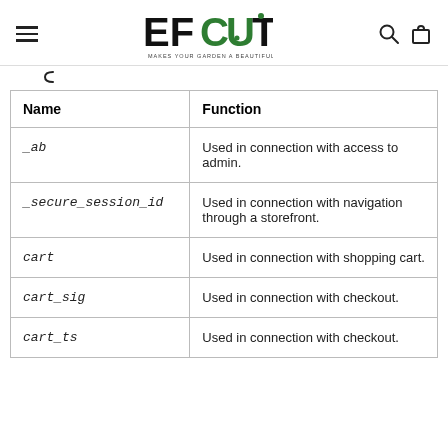EFCUT - MAKES YOUR GARDEN A BEAUTIFUL LANDSCAPE
| Name | Function |
| --- | --- |
| _ab | Used in connection with access to admin. |
| _secure_session_id | Used in connection with navigation through a storefront. |
| cart | Used in connection with shopping cart. |
| cart_sig | Used in connection with checkout. |
| cart_ts | Used in connection with checkout. |